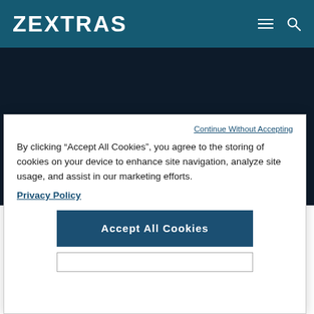ZEXTRAS
ZEXTRAS SRL
Continue Without Accepting
By clicking “Accept All Cookies”, you agree to the storing of cookies on your device to enhance site navigation, analyze site usage, and assist in our marketing efforts.
Privacy Policy
Accept All Cookies